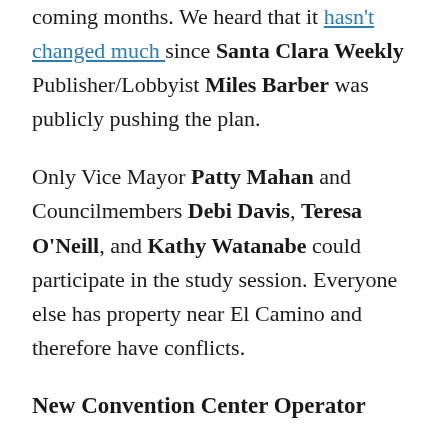coming months. We heard that it hasn't changed much since Santa Clara Weekly Publisher/Lobbyist Miles Barber was publicly pushing the plan.
Only Vice Mayor Patty Mahan and Councilmembers Debi Davis, Teresa O'Neill, and Kathy Watanabe could participate in the study session. Everyone else has property near El Camino and therefore have conflicts.
New Convention Center Operator
The Council authorized the City Manager to negotiate with Spectra, one of the top convention center operators in the nation that's partially owned...